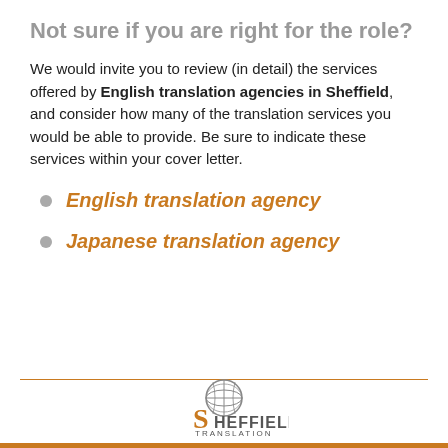Not sure if you are right for the role?
We would invite you to review (in detail) the services offered by English translation agencies in Sheffield, and consider how many of the translation services you would be able to provide. Be sure to indicate these services within your cover letter.
English translation agency
Japanese translation agency
[Figure (logo): Sheffield Translation logo with globe icon and stylized text reading S HEFFIELD TRANSLATION]